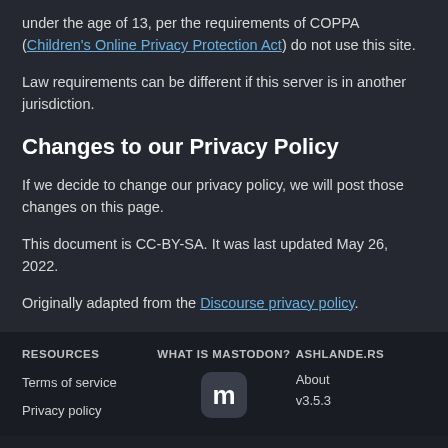under the age of 13, per the requirements of COPPA (Children's Online Privacy Protection Act) do not use this site.
Law requirements can be different if this server is in another jurisdiction.
Changes to our Privacy Policy
If we decide to change our privacy policy, we will post those changes on this page.
This document is CC-BY-SA. It was last updated May 26, 2022.
Originally adapted from the Discourse privacy policy.
RESOURCES | Terms of service | Privacy policy | WHAT IS MASTODON? | ASHLANDE.RS | About | v3.5.3